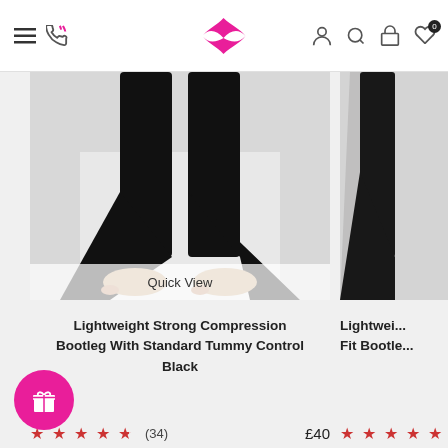Navigation header with hamburger menu, phone icon, brand logo (X logo in pink), user icon, search icon, bag icon, wishlist icon with badge 0
[Figure (photo): Woman's legs wearing black wide-leg bootleg compression pants, shown from waist down on light grey background]
Quick View
Lightweight Strong Compression Bootleg With Standard Tummy Control Black
★★★★½ (34)   £40
ADD TO BAG
Lightwei... Fit Bootle...
[Figure (photo): Partial view of second product - another bootleg compression pant, cropped on right edge]